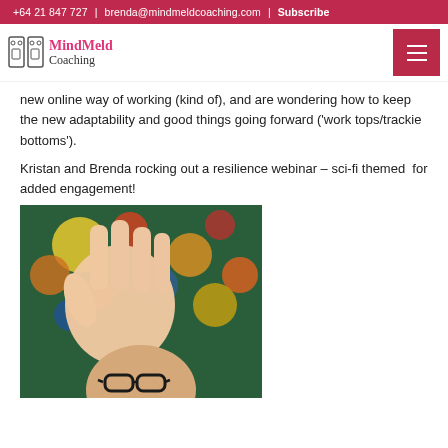+64 21 847 727 | brenda@mindmeldcoaching.com | Subscribe
[Figure (logo): MindMeld Coaching logo with two face icons and pink MindMeld text with grey Coaching text]
new online way of working (kind of), and are wondering how to keep the new adaptability and good things going forward ('work tops/trackie bottoms').
Kristan and Brenda rocking out a resilience webinar – sci-fi themed  for added engagement!
[Figure (photo): A person doing a Vulcan salute hand gesture in front of a colourful painting, with a bald person wearing glasses in the foreground below]